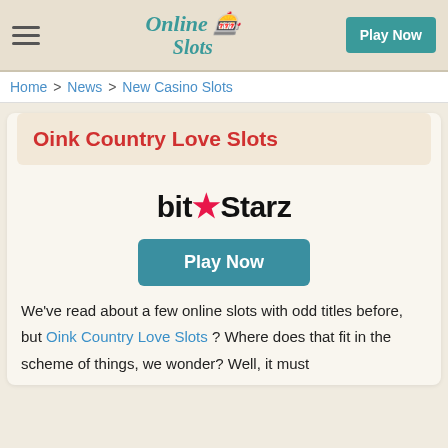Online Slots | Play Now
Home > News > New Casino Slots
Oink Country Love Slots
[Figure (logo): BitStarz casino logo with a pink star between 'bit' and 'Starz']
Play Now
We've read about a few online slots with odd titles before, but Oink Country Love Slots ? Where does that fit in the scheme of things, we wonder? Well, it must